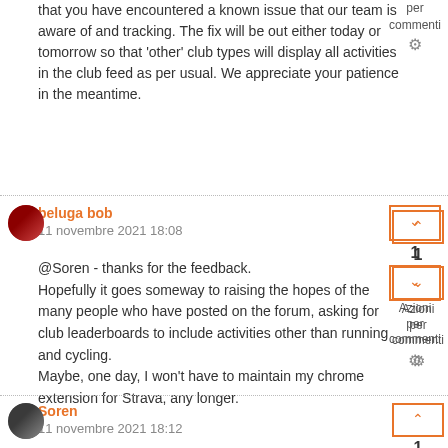that you have encountered a known issue that our team is aware of and tracking. The fix will be out either today or tomorrow so that 'other' club types will display all activities in the club feed as per usual. We appreciate your patience in the meantime.
per commenti
beluga bob
11 novembre 2021 18:08
@Soren - thanks for the feedback.
Hopefully it goes someway to raising the hopes of the many people who have posted on the forum, asking for club leaderboards to include activities other than running and cycling.
Maybe, one day, I won't have to maintain my chrome extension for Strava, any longer.
1
Azioni per commenti
Soren
11 novembre 2021 18:12
Good news, it's fixed already.
beluga bob it's definitely a high priority on our radar. More news real
1
Azioni